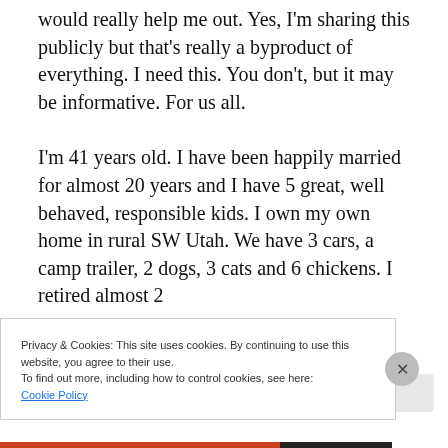would really help me out. Yes, I'm sharing this publicly but that's really a byproduct of everything. I need this. You don't, but it may be informative. For us all.
I'm 41 years old. I have been happily married for almost 20 years and I have 5 great, well behaved, responsible kids. I own my own home in rural SW Utah. We have 3 cars, a camp trailer, 2 dogs, 3 cats and 6 chickens. I retired almost 2
Privacy & Cookies: This site uses cookies. By continuing to use this website, you agree to their use.
To find out more, including how to control cookies, see here:
Cookie Policy
Close and accept